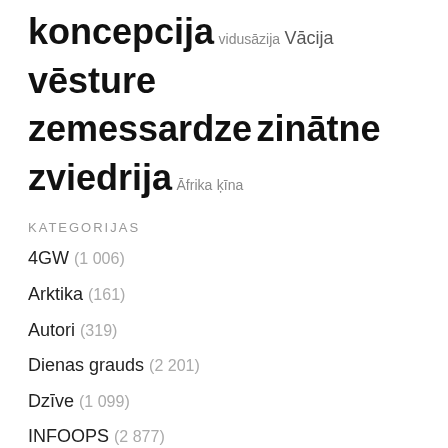koncepcija vidusāzija Vācija vēsture zemessardze zinātne zviedrija Āfrika ķīna
KATEGORIJAS
4GW (1 006)
Arktika (161)
Autori (319)
Dienas grauds (2 201)
Dzīve (1 099)
INFOOPS (2 877)
IZdzīve (720)